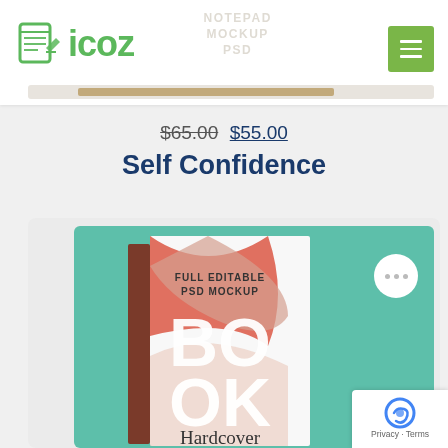[Figure (logo): icoz brand logo with green icon and green text]
NOTEPAD MOCKUP PSD
$65.00 $55.00
Self Confidence
[Figure (photo): Book hardcover mockup on teal/mint background. Book cover shows 'FULL EDITABLE PSD MOCKUP' and 'BOOK Hardcover' text with pink/red abstract design.]